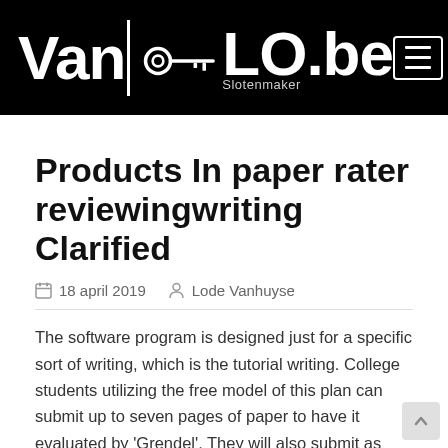Van Slotenmaker LO.be
Products In paper rater reviewingwriting Clarified
18 april 2019   Lode Vanhuyse
The software program is designed just for a specific sort of writing, which is the tutorial writing. College students utilizing the free model of this plan can submit up to seven pages of paper to have it evaluated by 'Grendel'. They will also submit as much as 15 pages if they pay a one time cost of seven.ninety five. Finally, a subscription of spherical 15 dollars monthly will get unlimited submissions of material.